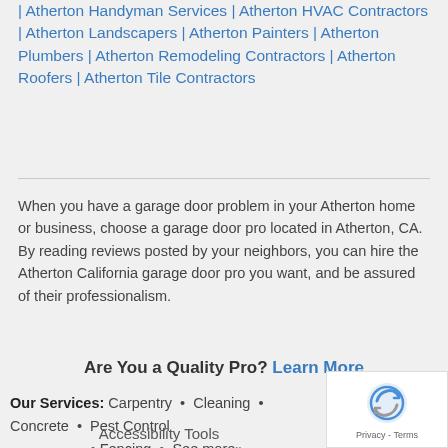| Atherton Handyman Services | Atherton HVAC Contractors | Atherton Landscapers | Atherton Painters | Atherton Plumbers | Atherton Remodeling Contractors | Atherton Roofers | Atherton Tile Contractors
When you have a garage door problem in your Atherton home or business, choose a garage door pro located in Atherton, CA. By reading reviews posted by your neighbors, you can hire the Atherton California garage door pro you want, and be assured of their professionalism.
Are You a Quality Pro? Learn More
Our Services: Carpentry • Cleaning • Concrete • Pest Control • Fencing • See more»
Accessibility Tools